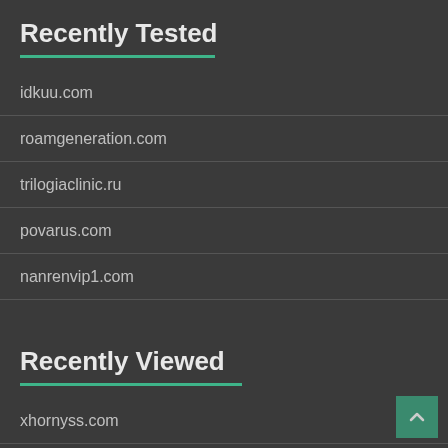Recently Tested
idkuu.com
roamgeneration.com
trilogiaclinic.ru
povarus.com
nanrenvip1.com
Recently Viewed
xhornyss.com
sis001a.mobi